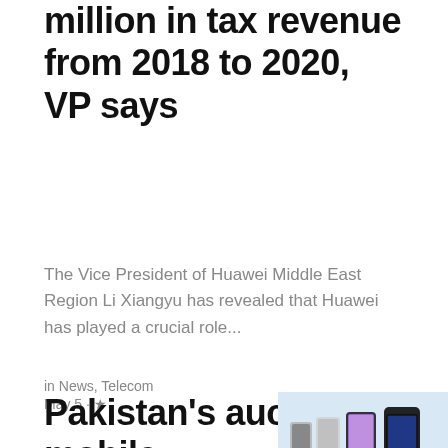million in tax revenue from 2018 to 2020, VP says
The Vice President of Huawei Middle East Region Li Xiangyu has revealed that Huawei has played a crucial role...
in News, Telecom
May 5 · ★
Pakistan's auction of mobile
[Figure (photo): A row of four mobile phones of different eras/styles displayed against a light blue background]